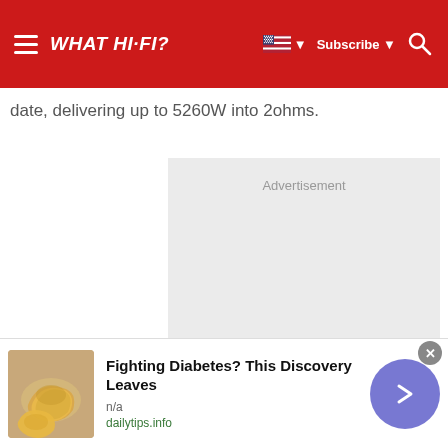WHAT HI-FI?
date, delivering up to 5260W into 2ohms.
[Figure (other): Advertisement placeholder block (light grey rectangle)]
Advertisement
[Figure (other): Bottom ad banner: cashew nuts image, title 'Fighting Diabetes? This Discovery Leaves', source n/a, url dailytips.info, arrow button, close button]